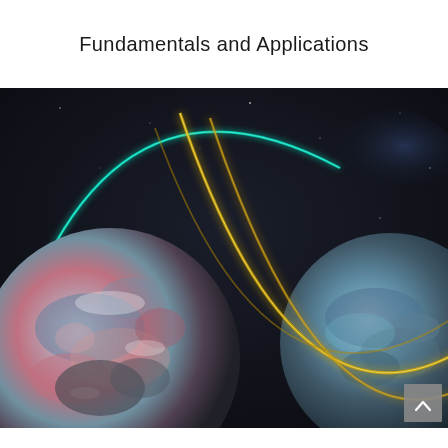Fundamentals and Applications
[Figure (illustration): Book cover illustration showing two planet-like spheres in a dark space background. The left sphere resembles Earth with blue, red, and grey tones, surrounded by a glowing teal/cyan arc. The right sphere has blue and teal tones with glowing yellow orbital arc lines crossing between the two spheres, suggesting quantum entanglement or gravitational interaction in space.]